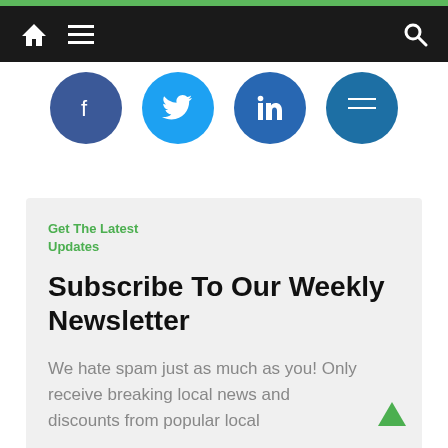Navigation bar with home icon, hamburger menu, and search icon
[Figure (illustration): Four partially visible social media circles: Facebook (dark blue), Twitter (light blue), LinkedIn (blue), YouTube/other (blue), cropped at top]
Get The Latest Updates
Subscribe To Our Weekly Newsletter
We hate spam just as much as you! Only receive breaking local news and discounts from popular local